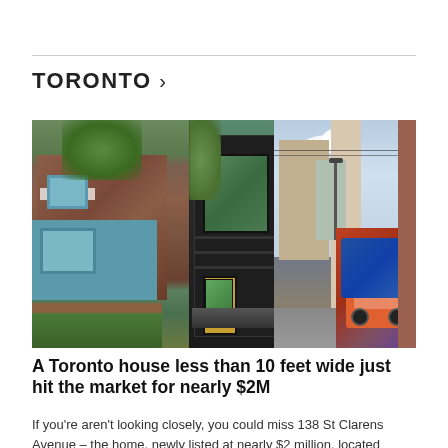TORONTO >
[Figure (photo): Two-panel photograph: left side shows a brick Victorian house with a teal/blue porch and a REALTOR sign; right side shows a narrow modern black steel house less than 10 feet wide and an alley with a mural of an orange car on a brick wall.]
A Toronto house less than 10 feet wide just hit the market for nearly $2M
If you're aren't looking closely, you could miss 138 St Clarens Avenue – the home, newly listed at nearly $2 million, located